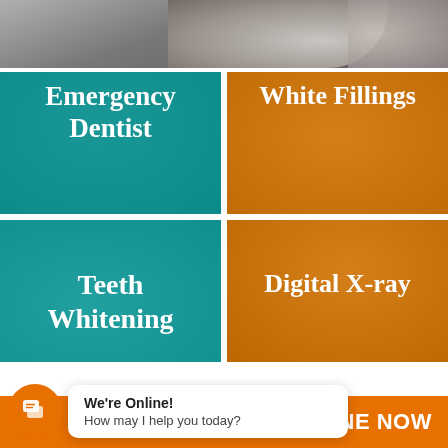[Figure (photo): Top strip photo showing a hand holding a small dental object, grayscale/muted]
[Figure (photo): Teal-tinted photo of a man holding his jaw in pain with white bold text overlay reading 'Emergency Dentist']
[Figure (photo): Orange-tinted photo of a dental tool close-up with white bold text overlay reading 'White Fillings']
[Figure (photo): Teal-tinted photo with white bold text overlay reading 'Teeth Whitening' (partially cut off at bottom)]
[Figure (photo): Orange-tinted photo of smiling woman with white bold text overlay reading 'Digital X-ray']
We're Online! How may I help you today?
NLINE NOW